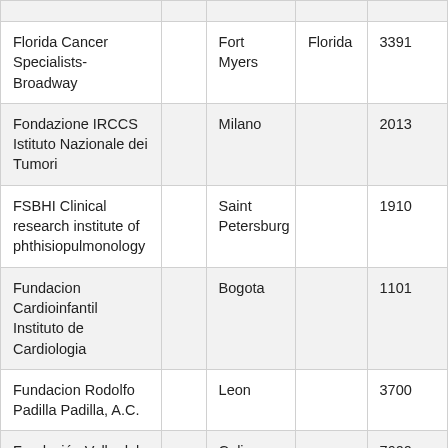| Florida Cancer Specialists-Broadway |  | Fort Myers | Florida | 3391… |
| Fondazione IRCCS Istituto Nazionale dei Tumori |  | Milano |  | 2013… |
| FSBHI Clinical research institute of phthisiopulmonology |  | Saint Petersburg |  | 1910… |
| Fundacion Cardioinfantil Instituto de Cardiologia |  | Bogota |  | 1101… |
| Fundacion Rodolfo Padilla Padilla, A.C. |  | Leon |  | 3700… |
| Fundación Valle del Lilí |  | Cali |  | 7600… |
| Fundação Faculdade… |  | São José do… |  | 1509… |